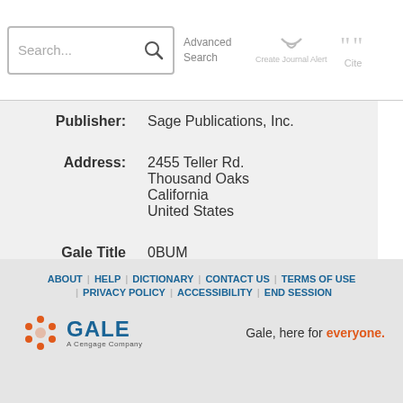[Figure (screenshot): Top navigation bar with search box, Advanced Search, Create Journal Alert, and Cite icons]
| Publisher: | Sage Publications, Inc. |
| Address: | 2455 Teller Rd.
Thousand Oaks
California
United States |
| Gale Title ID: | 0BUM |
SEARCH WITHIN PUBLICATION
[Figure (screenshot): Search within publication form with text input and Submit button]
ABOUT | HELP | DICTIONARY | CONTACT US | TERMS OF USE | PRIVACY POLICY | ACCESSIBILITY | END SESSION
Gale, here for everyone.